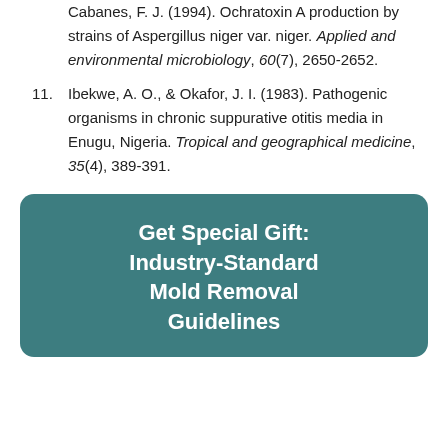Cabanes, F. J. (1994). Ochratoxin A production by strains of Aspergillus niger var. niger. Applied and environmental microbiology, 60(7), 2650-2652.
11. Ibekwe, A. O., & Okafor, J. I. (1983). Pathogenic organisms in chronic suppurative otitis media in Enugu, Nigeria. Tropical and geographical medicine, 35(4), 389-391.
Get Special Gift: Industry-Standard Mold Removal Guidelines